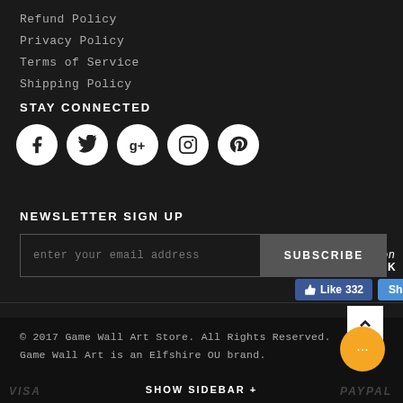Refund Policy
Privacy Policy
Terms of Service
Shipping Policy
STAY CONNECTED
[Figure (infographic): Social media icons: Facebook, Twitter, Google+, Instagram, Pinterest (white circles on dark background), with Facebook Like (332) and Share buttons]
NEWSLETTER SIGN UP
[Figure (infographic): Email input field with placeholder 'enter your email address' and SUBSCRIBE button]
© 2017 Game Wall Art Store. All Rights Reserved. Game Wall Art is an Elfshire OU brand.
SHOW SIDEBAR +